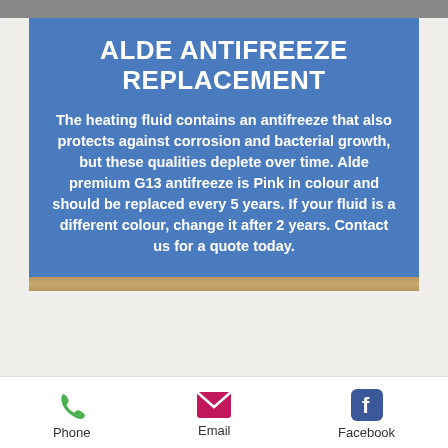ALDE ANTIFREEZE REPLACEMENT
The heating fluid contains an antifreeze that also protects against corrosion and bacterial growth, but these qualities deplete over time. Alde premium G13 antifreeze is Pink in colour and should be replaced every 5 years. If your fluid is a different colour, change it after 2 years. Contact us for a quote today.
Phone   Email   Facebook